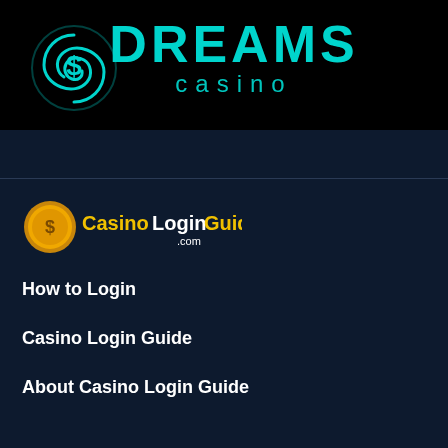[Figure (logo): Dreams Casino logo with teal/cyan color on black background, showing a swirling S symbol and the text DREAMS casino]
[Figure (logo): CasinoLoginGuide.com logo with gold coin icon and text Casino in yellow, Login in white, Guide in yellow, .com in smaller text]
How to Login
Casino Login Guide
About Casino Login Guide